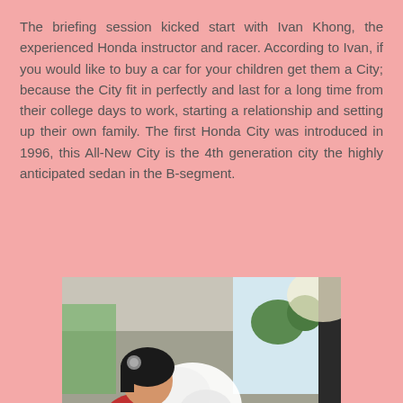The briefing session kicked start with Ivan Khong, the experienced Honda instructor and racer. According to Ivan, if you would like to buy a car for your children get them a City; because the City fit in perfectly and last for a long time from their college days to work, starting a relationship and setting up their own family. The first Honda City was introduced in 1996, this All-New City is the 4th generation city the highly anticipated sedan in the B-segment.
[Figure (photo): Interior view of a car with a woman in a red shirt sitting in the driver's seat, an airbag deployed in front of her, dashboard and steering wheel visible, natural light coming through windows.]
A closer look at the All-New City's features